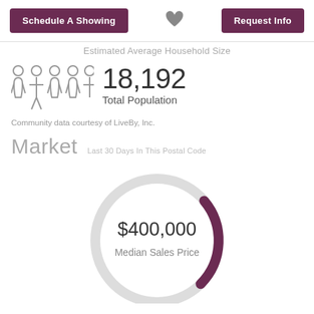Schedule A Showing | ♥ | Request Info
Estimated Average Household Size
[Figure (infographic): People icons representing population]
18,192
Total Population
Community data courtesy of LiveBy, Inc.
Market   Last 30 Days In This Postal Code
[Figure (donut-chart): Median Sales Price]